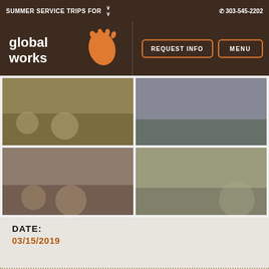SUMMER SERVICE TRIPS FOR | ☎ 303-545-2202
[Figure (logo): Global Works logo — white text 'global works' with orange footprint icon on dark brown background]
REQUEST INFO | MENU
[Figure (photo): Group of teens sitting outdoors on sandy/rocky ground with colorful gear]
[Figure (photo): Group of students standing on an outdoor terrace or balcony]
[Figure (photo): Group of teens sitting at outdoor cafe tables on a town square]
[Figure (photo): Teens sitting outdoors, some with wheelchairs, at an outdoor area]
DATE:
03/15/2019